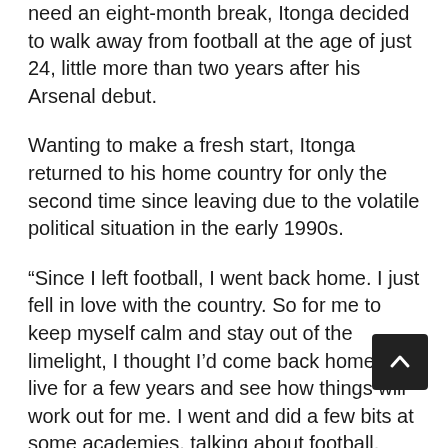need an eight-month break, Itonga decided to walk away from football at the age of just 24, little more than two years after his Arsenal debut.
Wanting to make a fresh start, Itonga returned to his home country for only the second time since leaving due to the volatile political situation in the early 1990s.
“Since I left football, I went back home. I just fell in love with the country. So for me to keep myself calm and stay out of the limelight, I thought I’d come back home and live for a few years and see how things will work out for me. I went and did a few bits at some academies, talking about football. Since then, I’ve been back and forth and mostly now I’m now based in Camberwell.”
From speaking to Itonga, it seems that he is in a positive frame of mind these days and has enjoyed the opportunity of moving between the country of his birth and the place he has called home most of his life. But he admits that there have been some dark moments since his time in the game…